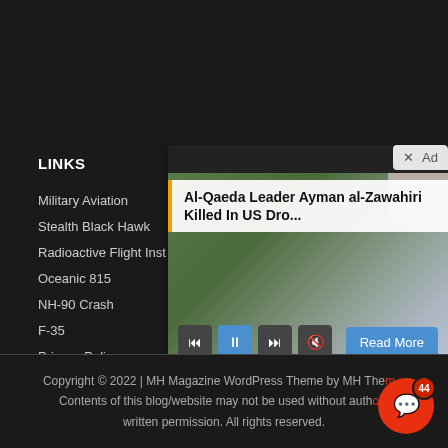LINKS
Military Aviation
Stealth Black Hawk
Radioactive Flight Inst
Oceanic 815
NH-90 Crash
F-35
Privacy Policy
[Figure (screenshot): Ad overlay showing news article: 'Al-Qaeda Leader Ayman al-Zawahiri Killed In US Dro...' with media controls and Read More button. Ad badge with X close button in top right.]
Copyright © 2022 | MH Magazine WordPress Theme by MH Themes. Contents of this blog/website may not be used without author's written permission. All rights reserved.